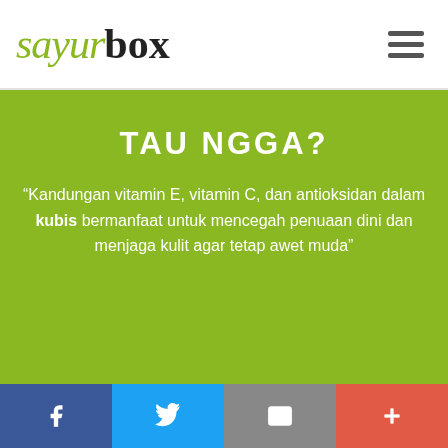[Figure (logo): Sayurbox logo with green italic 'sayur' and bold black 'box' text]
TAU NGGA?
“Kandungan vitamin E, vitamin C, dan antioksidan dalam kubis bermanfaat untuk mencegah penuaan dini dan menjaga kulit agar tetap awet muda”
CONNECT WITH US
[Figure (infographic): Social media icons: Facebook, Twitter, Instagram in white on green background]
[Figure (infographic): Bottom bar with four social/action buttons: Facebook (blue), Twitter (light blue), Email (gray), Plus (red-orange)]